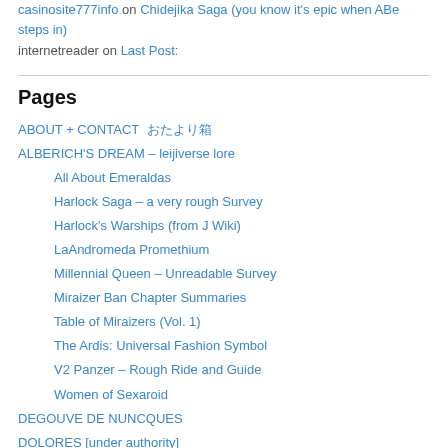casinosite777info on Chidejika Saga (you know it's epic when ABe steps in)
internetreader on Last Post:
Pages
ABOUT + CONTACT　　おたより箱
ALBERICH'S DREAM – leijiverse lore
All About Emeraldas
Harlock Saga – a very rough Survey
Harlock's Warships (from J Wiki)
LaAndromeda Promethium
Millennial Queen – Unreadable Survey
Miraizer Ban Chapter Summaries
Table of Miraizers (Vol. 1)
The Ardis: Universal Fashion Symbol
V2 Panzer – Rough Ride and Guide
Women of Sexaroid
DEGOUVE DE NUNCQUES
DOLORES [under authority]